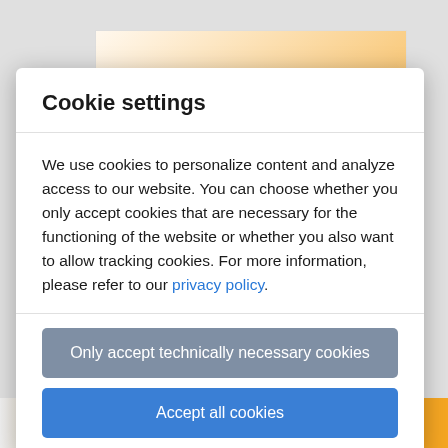Cookie settings
We use cookies to personalize content and analyze access to our website. You can choose whether you only accept cookies that are necessary for the functioning of the website or whether you also want to allow tracking cookies. For more information, please refer to our privacy policy.
Only accept technically necessary cookies
Accept all cookies